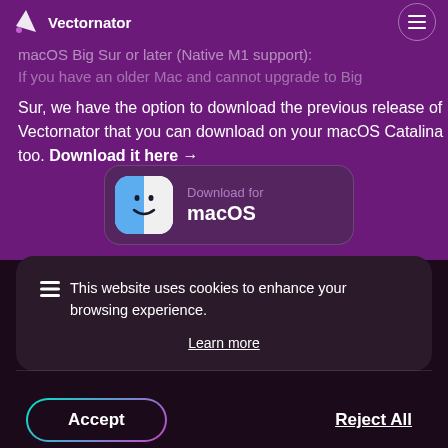Vectornator
macOS Big Sur or later (Native M1 support):
If you have an older Mac and cannot upgrade to Big Sur, we have the option to download the previous release of Vectornator that you can download on your macOS Catalina too. Download it here →
[Figure (screenshot): Download for macOS button with Finder icon]
This website uses cookies to enhance your browsing experience.
Learn more
Accept
Reject All